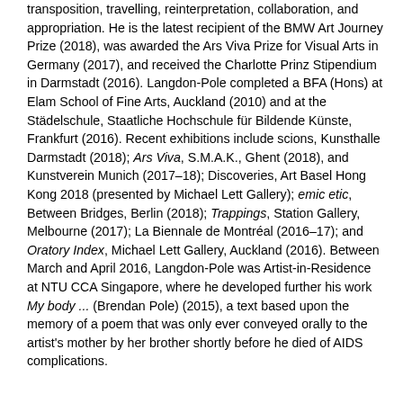transposition, travelling, reinterpretation, collaboration, and appropriation. He is the latest recipient of the BMW Art Journey Prize (2018), was awarded the Ars Viva Prize for Visual Arts in Germany (2017), and received the Charlotte Prinz Stipendium in Darmstadt (2016). Langdon-Pole completed a BFA (Hons) at Elam School of Fine Arts, Auckland (2010) and at the Städelschule, Staatliche Hochschule für Bildende Künste, Frankfurt (2016). Recent exhibitions include scions, Kunsthalle Darmstadt (2018); Ars Viva, S.M.A.K., Ghent (2018), and Kunstverein Munich (2017–18); Discoveries, Art Basel Hong Kong 2018 (presented by Michael Lett Gallery); emic etic, Between Bridges, Berlin (2018); Trappings, Station Gallery, Melbourne (2017); La Biennale de Montréal (2016–17); and Oratory Index, Michael Lett Gallery, Auckland (2016). Between March and April 2016, Langdon-Pole was Artist-in-Residence at NTU CCA Singapore, where he developed further his work My body ... (Brendan Pole) (2015), a text based upon the memory of a poem that was only ever conveyed orally to the artist's mother by her brother shortly before he died of AIDS complications.